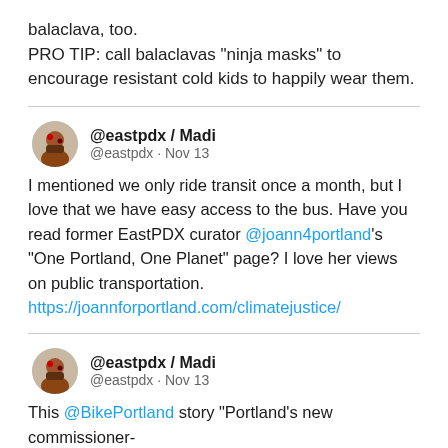balaclava, too.
PRO TIP: call balaclavas “ninja masks” to encourage resistant cold kids to happily wear them.
@eastpdx / Madi
@eastpdx · Nov 13
I mentioned we only ride transit once a month, but I love that we have easy access to the bus. Have you read former EastPDX curator @joann4portland’s “One Portland, One Planet” page? I love her views on public transportation. https://joannforportland.com/climatejustice/
@eastpdx / Madi
@eastpdx · Nov 13
This @BikePortland story “Portland’s new commissioner-